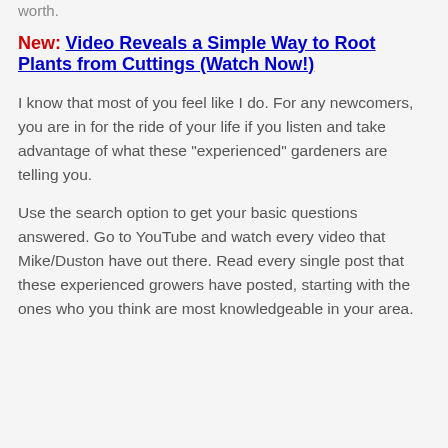worth.
New: Video Reveals a Simple Way to Root Plants from Cuttings (Watch Now!)
I know that most of you feel like I do.  For any newcomers, you are in for the ride of your life if you listen and take advantage of what these "experienced" gardeners are telling you.
Use the search option to get your basic questions answered.  Go to YouTube and watch every video that Mike/Duston have out there.  Read every single post that these experienced growers have posted, starting with the ones who you think are most knowledgeable in your area.